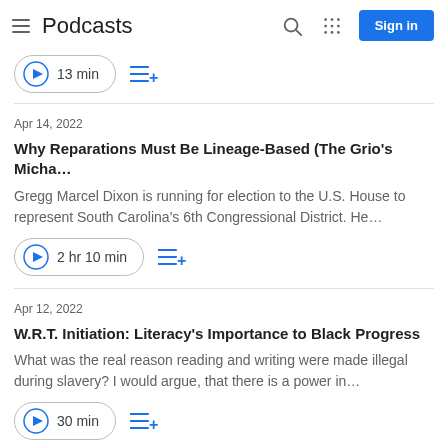Podcasts
13 min
Apr 14, 2022
Why Reparations Must Be Lineage-Based (The Grio's Micha…
Gregg Marcel Dixon is running for election to the U.S. House to represent South Carolina's 6th Congressional District. He…
2 hr 10 min
Apr 12, 2022
W.R.T. Initiation: Literacy's Importance to Black Progress
What was the real reason reading and writing were made illegal during slavery? I would argue, that there is a power in…
30 min